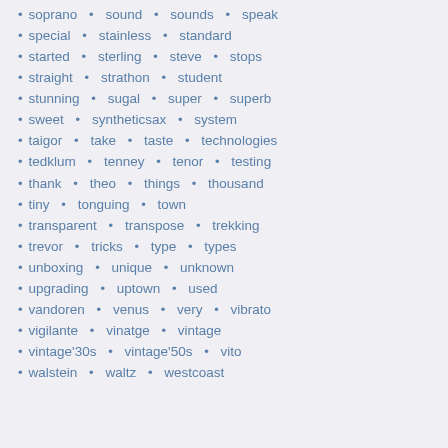soprano • sound • sounds • speak
special • stainless • standard
started • sterling • steve • stops
straight • strathon • student
stunning • sugal • super • superb
sweet • syntheticsax • system
taigor • take • taste • technologies
tedklum • tenney • tenor • testing
thank • theo • things • thousand
tiny • tonguing • town
transparent • transpose • trekking
trevor • tricks • type • types
unboxing • unique • unknown
upgrading • uptown • used
vandoren • venus • very • vibrato
vigilante • vinatge • vintage
vintage'30s • vintage'50s • vito
walstein • waltz • westcoast